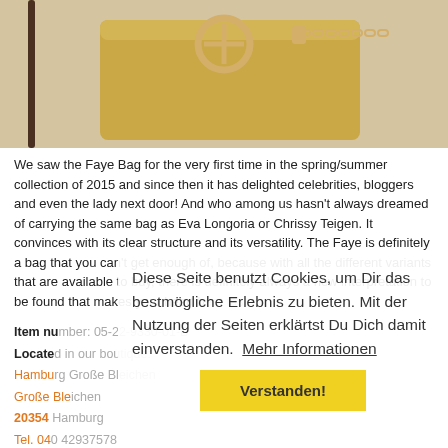[Figure (photo): Yellow/mustard Chloé Faye bag with gold ring hardware and chain strap, cropped from above]
We saw the Faye Bag for the very first time in the spring/summer collection of 2015 and since then it has delighted celebrities, bloggers and even the lady next door! And who among us hasn't always dreamed of carrying the same bag as Eva Longoria or Chrissy Teigen. It convinces with its clear structure and its versatility. The Faye is definitely a bag that you can't get enough of, because with all the different variants that are available to buy, there is definitely always a new interpretation to be found that makes your heart beat faster.
Item number: 05-22-93330-01-B
Located in our boutique:
Hamburg Große Bleichen
Große Bleichen
20354 Hamburg
Tel. 040 42937578
hamburg@luxussachen.com
Opening Hours
Mon-Sat 10:00 - 19:00
Diese Seite benutzt Cookies, um Dir das bestmögliche Erlebnis zu bieten. Mit der Nutzung der Seiten erklärtst Du Dich damit einverstanden. Mehr Informationen
Verstanden!